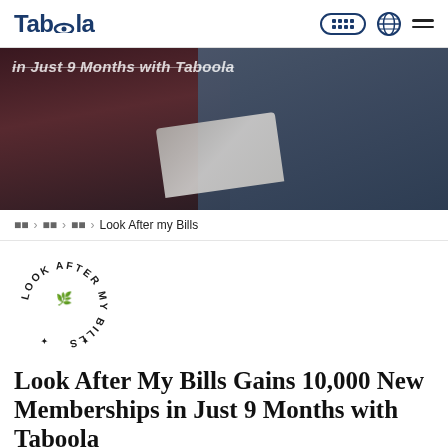Taboola
[Figure (photo): Dark photo showing two people, one handing a document/paper to another. Partially visible text overlay reads 'in Just 9 Months with Taboola'.]
in Just 9 Months with Taboola
[breadcrumb] > [breadcrumb] > [breadcrumb] > Look After my Bills
[Figure (logo): Look After My Bills circular text logo — text arranged in a circle reading LOOK AFTER MY BILLS with a small tree/leaf icon in center]
Look After My Bills Gains 10,000 New Memberships in Just 9 Months with Taboola